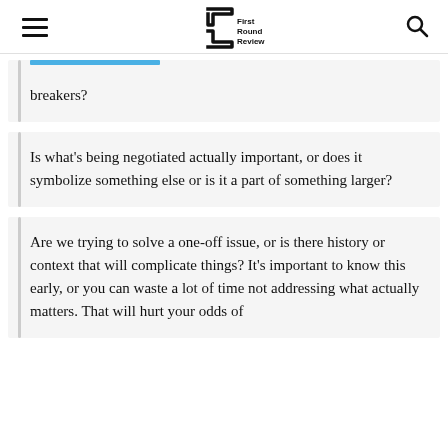First Round Review
breakers?
Is what’s being negotiated actually important, or does it symbolize something else or is it a part of something larger?
Are we trying to solve a one-off issue, or is there history or context that will complicate things? It’s important to know this early, or you can waste a lot of time not addressing what actually matters. That will hurt your odds of